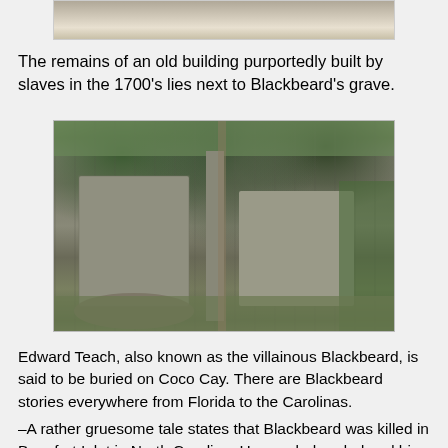[Figure (photo): Partial view of a snowy or light-colored ground scene, top portion of an outdoor photo cropped at the top of the page]
The remains of an old building purportedly built by slaves in the 1700's lies next to Blackbeard's grave.
[Figure (photo): Photograph of stone ruins of an old building with crumbling walls, surrounded by tropical vegetation including palm trees and green plants]
Edward Teach, also known as the villainous Blackbeard, is said to be buried on Coco Cay. There are Blackbeard stories everywhere from Florida to the Carolinas.
–A rather gruesome tale states that Blackbeard was killed in Beaufort Inlet in North Carolina. He was beheaded and his